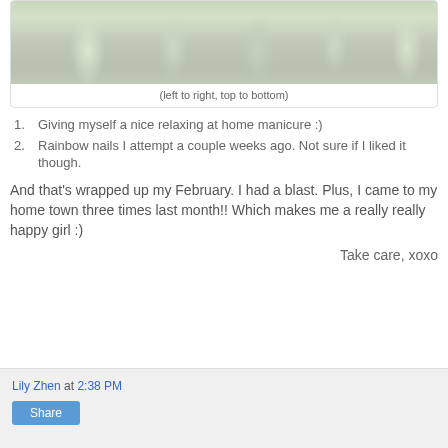[Figure (photo): Close-up photo of hands with painted nails showing a pearlescent light green/white manicure]
(left to right, top to bottom)
Giving myself a nice relaxing at home manicure :)
Rainbow nails I attempt a couple weeks ago. Not sure if I liked it though.
And that's wrapped up my February. I had a blast. Plus, I came to my home town three times last month!! Which makes me a really really happy girl :)
Take care, xoxo
Lily Zhen at 2:38 PM  Share